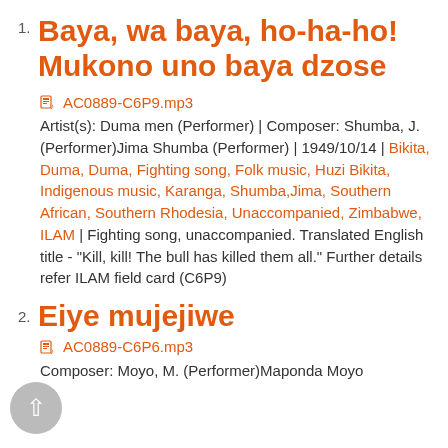1. Baya, wa baya, ho-ha-ho! Mukono uno baya dzose
AC0889-C6P9.mp3
Artist(s): Duma men (Performer) | Composer: Shumba, J. (Performer)Jima Shumba (Performer) | 1949/10/14 | Bikita, Duma, Duma, Fighting song, Folk music, Huzi Bikita, Indigenous music, Karanga, Shumba,Jima, Southern African, Southern Rhodesia, Unaccompanied, Zimbabwe, ILAM | Fighting song, unaccompanied. Translated English title - "Kill, kill! The bull has killed them all." Further details refer ILAM field card (C6P9)
2. Eiye mujejiwe
AC0889-C6P6.mp3
Composer: Moyo, M. (Performer)Maponda Moyo